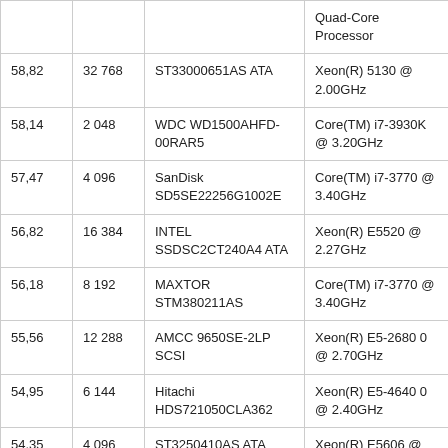|  |  |  |  |
| --- | --- | --- | --- |
|  |  |  | Quad-Core Processor |
| 58,82 | 32 768 | ST33000651AS ATA | Xeon(R) 5130 @ 2.00GHz |
| 58,14 | 2 048 | WDC WD1500AHFD-00RAR5 | Core(TM) i7-3930K @ 3.20GHz |
| 57,47 | 4 096 | SanDisk SD5SE22256G1002E | Core(TM) i7-3770 @ 3.40GHz |
| 56,82 | 16 384 | INTEL SSDSC2CT240A4 ATA | Xeon(R) E5520 @ 2.27GHz |
| 56,18 | 8 192 | MAXTOR STM380211AS | Core(TM) i7-3770 @ 3.40GHz |
| 55,56 | 12 288 | AMCC 9650SE-2LP SCSI | Xeon(R) E5-2680 0 @ 2.70GHz |
| 54,95 | 6 144 | Hitachi HDS721050CLA362 | Xeon(R) E5-4640 0 @ 2.40GHz |
| 54,35 | 4 096 | ST3250410AS ATA | Xeon(R) E5606 @ 2.40GHz |